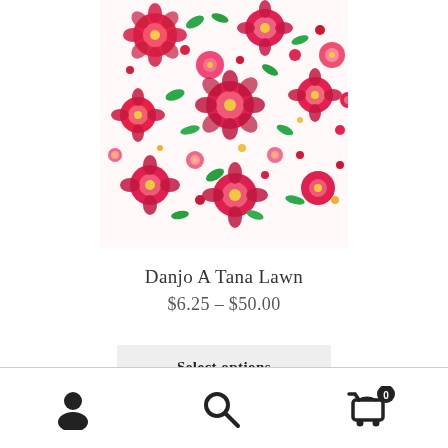[Figure (photo): Floral fabric swatch showing Danjo A Tana Lawn pattern with red, pink, and green flowers on white background]
Danjo A Tana Lawn
$6.25 – $50.00
Select options
[Figure (infographic): Bottom navigation bar with user account icon, search icon, and shopping cart icon with badge showing 0]